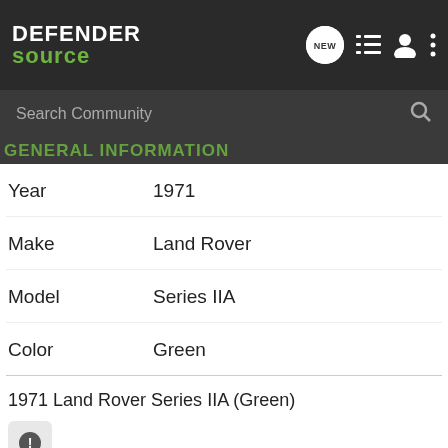[Figure (screenshot): Defender Source website navigation bar with logo, NEW chat icon, list icon, user icon, and more options icon]
[Figure (screenshot): Search Community search bar with magnifying glass icon]
General Information
Year    1971
Make    Land Rover
Model    Series IIA
Color    Green
1971 Land Rover Series IIA (Green)
[Figure (other): Info/error icon button]
Gallery